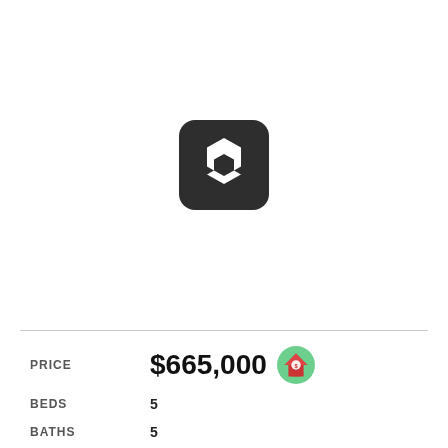[Figure (logo): Dark rounded square logo with a white hexagonal/bolt nut shape in the center]
PRICE $665,000
BEDS 5
BATHS 5